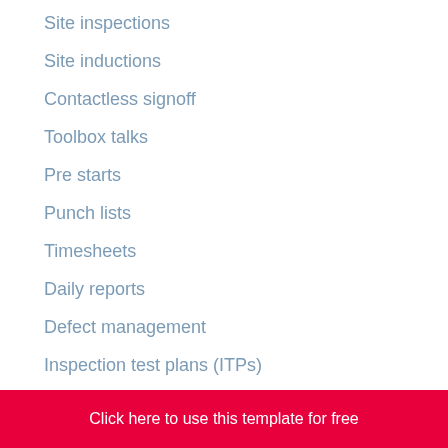Site inspections
Site inductions
Contactless signoff
Toolbox talks
Pre starts
Punch lists
Timesheets
Daily reports
Defect management
Inspection test plans (ITPs)
Method statements (SWMS / RAMS)
Click here to use this template for free